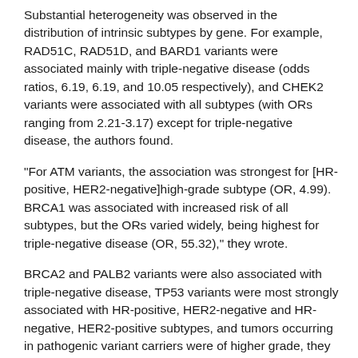Substantial heterogeneity was observed in the distribution of intrinsic subtypes by gene. For example, RAD51C, RAD51D, and BARD1 variants were associated mainly with triple-negative disease (odds ratios, 6.19, 6.19, and 10.05 respectively), and CHEK2 variants were associated with all subtypes (with ORs ranging from 2.21-3.17) except for triple-negative disease, the authors found.
"For ATM variants, the association was strongest for [HR-positive, HER2-negative]high-grade subtype (OR, 4.99). BRCA1 was associated with increased risk of all subtypes, but the ORs varied widely, being highest for triple-negative disease (OR, 55.32)," they wrote.
BRCA2 and PALB2 variants were also associated with triple-negative disease, TP53 variants were most strongly associated with HR-positive, HER2-negative and HR-negative, HER2-positive subtypes, and tumors occurring in pathogenic variant carriers were of higher grade, they added, noting that for most genes and subtypes, a decline in ORs was observed with increasing age.